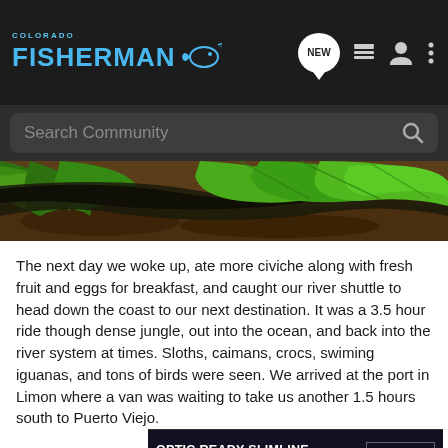Colorado Fisherman
[Figure (screenshot): Colorado Fisherman website header with search bar and navigation icons including NEW bubble, list icon, user icon, and menu dots]
[Figure (photo): Close-up photo of green tropical leaves and plants on a dirt/forest floor background]
The next day we woke up, ate more civiche along with fresh fruit and eggs for breakfast, and caught our river shuttle to head down the coast to our next destination. It was a 3.5 hour ride though dense jungle, out into the ocean, and back into the river system at times. Sloths, caimans, crocs, swiming iguanas, and tons of birds were seen. We arrived at the port in Limon where a van was waiting to take us another 1.5 hours south to Puerto Viejo.
[Figure (screenshot): Advertisement for Glock Optic Ready Slimline with MOS Find a Dealer button and Glock Perfection logo]
We arri... les.